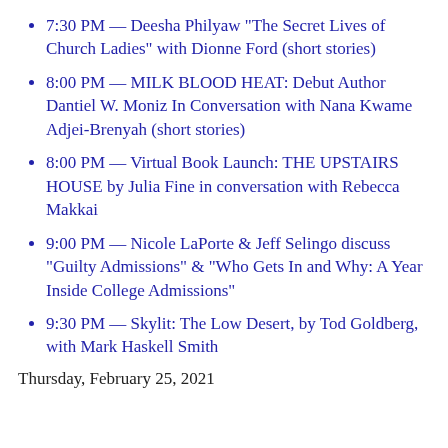7:30 PM — Deesha Philyaw "The Secret Lives of Church Ladies" with Dionne Ford (short stories)
8:00 PM — MILK BLOOD HEAT: Debut Author Dantiel W. Moniz In Conversation with Nana Kwame Adjei-Brenyah (short stories)
8:00 PM — Virtual Book Launch: THE UPSTAIRS HOUSE by Julia Fine in conversation with Rebecca Makkai
9:00 PM — Nicole LaPorte & Jeff Selingo discuss "Guilty Admissions" & "Who Gets In and Why: A Year Inside College Admissions"
9:30 PM — Skylit: The Low Desert, by Tod Goldberg, with Mark Haskell Smith
Thursday, February 25, 2021